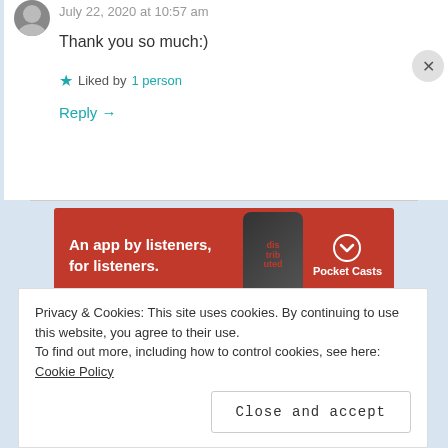July 22, 2020 at 10:57 am
Thank you so much:)
★ Liked by 1 person
Reply →
[Figure (other): Pocket Casts advertisement banner: red background with text 'An app by listeners, for listeners.' and a smartphone image with Pocket Casts logo]
REPORT THIS AD
Privacy & Cookies: This site uses cookies. By continuing to use this website, you agree to their use.
To find out more, including how to control cookies, see here: Cookie Policy
Close and accept